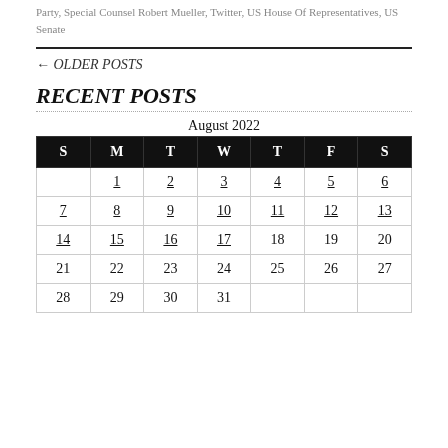Party, Special Counsel Robert Mueller, Twitter, US House Of Representatives, US Senate
← OLDER POSTS
RECENT POSTS
| S | M | T | W | T | F | S |
| --- | --- | --- | --- | --- | --- | --- |
|  | 1 | 2 | 3 | 4 | 5 | 6 |
| 7 | 8 | 9 | 10 | 11 | 12 | 13 |
| 14 | 15 | 16 | 17 | 18 | 19 | 20 |
| 21 | 22 | 23 | 24 | 25 | 26 | 27 |
| 28 | 29 | 30 | 31 |  |  |  |